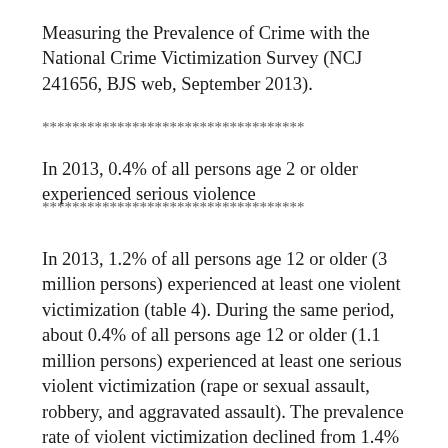Measuring the Prevalence of Crime with the National Crime Victimization Survey (NCJ 241656, BJS web, September 2013).
***********************************
In 2013, 0.4% of all persons age 2 or older experienced serious violence
***********************************
In 2013, 1.2% of all persons age 12 or older (3 million persons) experienced at least one violent victimization (table 4). During the same period, about 0.4% of all persons age 12 or older (1.1 million persons) experienced at least one serious violent victimization (rape or sexual assault, robbery, and aggravated assault). The prevalence rate of violent victimization declined from 1.4% of all persons age 12 or older in 2012 to 1.2% in 2013. No measurable change occurred in the prevalence rate of serious violent victimization from